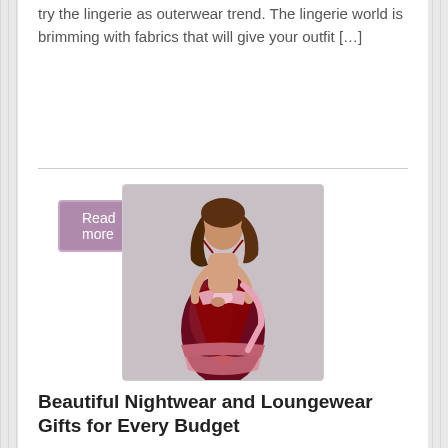try the lingerie as outerwear trend. The lingerie world is brimming with fabrics that will give your outfit [...]
Read more
[Figure (photo): A woman wearing a red and pink satin slip dress/nightwear, posed against a light grey background.]
Beautiful Nightwear and Loungewear Gifts for Every Budget
November 29, 2018, 8:54 am